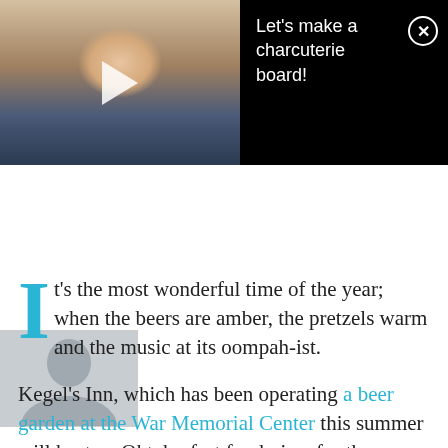[Figure (screenshot): Video overlay showing a woman in an apron making a charcuterie board at a table, with a play button in the center. Right side has black background with white text 'Let's make a charcuterie board!' and a circled X close button.]
[Figure (photo): Small avatar/profile photo thumbnail of a person, shown as a grey silhouette head and shoulders.]
It's the most wonderful time of the year; when the beers are amber, the pretzels warm and the music at its oompah-ist.
Kegel's Inn, which has been operating a beer garden at the War Memorial Center this summer will host an Oktoberfest fundraiser for the Center for the second straight year.